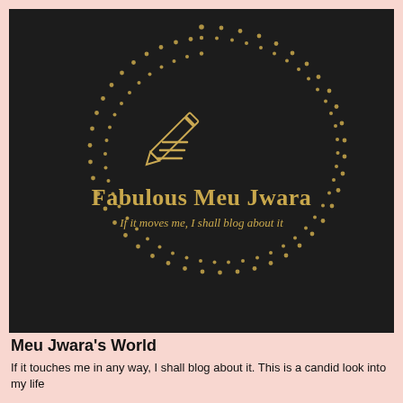[Figure (logo): Circular dotted gold border on dark background with a pencil and lines icon, text 'Fabulous Meu Jwara' in gold serif font, and subtitle 'If it moves me, I shall blog about it' in gold italic.]
Meu Jwara's World
If it touches me in any way, I shall blog about it. This is a candid look into my life